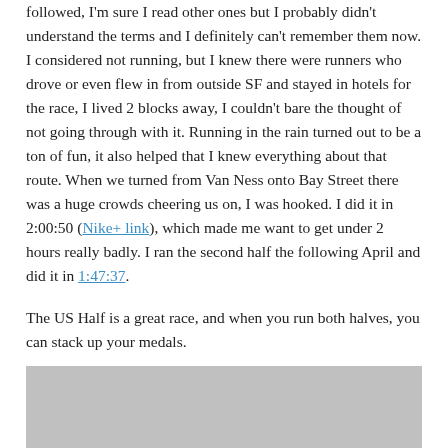followed, I'm sure I read other ones but I probably didn't understand the terms and I definitely can't remember them now. I considered not running, but I knew there were runners who drove or even flew in from outside SF and stayed in hotels for the race, I lived 2 blocks away, I couldn't bare the thought of not going through with it. Running in the rain turned out to be a ton of fun, it also helped that I knew everything about that route. When we turned from Van Ness onto Bay Street there was a huge crowds cheering us on, I was hooked. I did it in 2:00:50 (Nike+ link), which made me want to get under 2 hours really badly. I ran the second half the following April and did it in 1:47:37.
The US Half is a great race, and when you run both halves, you can stack up your medals.
[Figure (photo): Gray placeholder image at the bottom of the page]